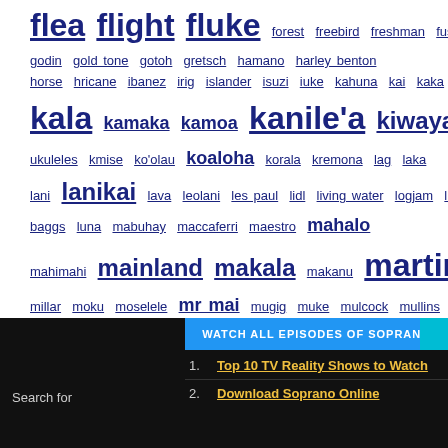flea flight fluke forest freebird freshman fusion G7th godin gold tone gotoh gretsch hamano harley benton horse hricane ibanez irig islander isuzi iuke kahuna kai kaka kala kamaka kamoa kanile'a kiwaya klos km ukuleles kmise ko'olau koaloha korala kremona lag laka lani lanikai lava leolani les paul lidl living water logjam lr baggs luna mabuhay maccaferri maestro mahalo mahimahi mainland makala makanu martin miles millar moku moselele mr mai mugig muke mulcock mullins nano nfc noah nova ohana omega ortega oulcraft outdoor ovation ozark paisen perkins peterson pickapick pignose pono populele psi ready ace rebel riptide risa roland romero rosen schoenhut seagull shima sigma snail snark soundsmith stagg takamine tanglewood tiger tiki timms tinguitar tkitki twisted uke leash uluru uma vangoa vintage vorson vox vtab waterman waverly winzz woodi wunderkammer zachary
Search for
1. Top 10 TV Reality Shows to Watch
2. Download Soprano Online